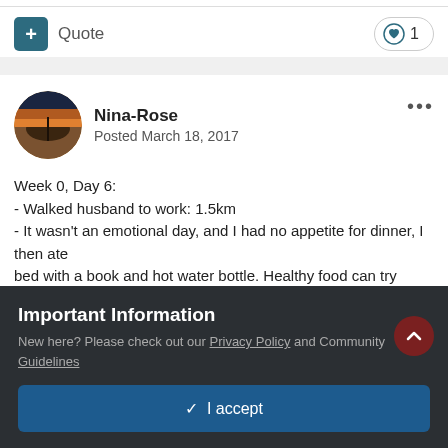[Figure (other): Action row with plus/quote button and heart like button showing count 1]
Nina-Rose
Posted March 18, 2017
Week 0, Day 6:
- Walked husband to work: 1.5km
- It wasn't an emotional day, and I had no appetite for dinner, I then ate bed with a book and hot water bottle. Healthy food can try again tomor
Important Information
New here? Please check out our Privacy Policy and Community Guidelines
✓  I accept